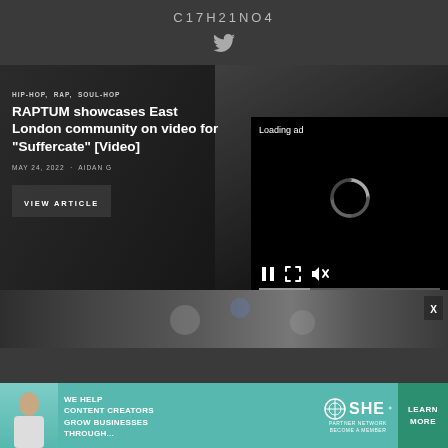C17H21NO4
[Figure (screenshot): Twitter bird icon in light gray on dark background]
[Figure (screenshot): Article card with dark photo background of a person. Categories: HIP-HOP, RAP, SOUL-HOP. Title: RAPTUM showcases East London community on video for "Suffercate" [Video]. Date: MAY 24, 2022. Author: AIDAN G. Button: VIEW ARTICLE. Overlapping video ad player showing 'Loading ad' with spinner and playback controls (pause, fullscreen, mute).]
RAPTUM showcases East London community on video for "Suffercate" [Video]
MAY 24, 2022 · AIDAN G
[Figure (screenshot): Second article image strip partially visible, with X close button on right side]
[Figure (infographic): Advertisement banner: 'WE HELP CONTENT CREATORS GROW BUSINESSES THROUGH...' with SHE PARTNER NETWORK logo and LEARN MORE button]